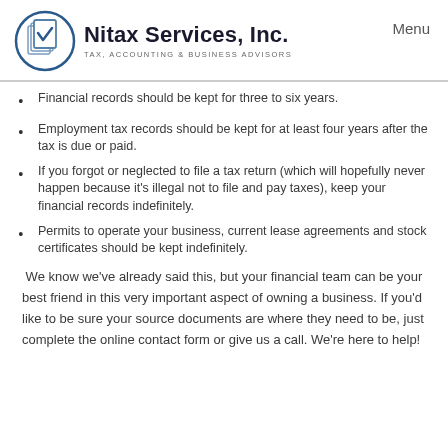Nitax Services, Inc. TAX, ACCOUNTING & BUSINESS ADVISORS | Menu
Financial records should be kept for three to six years.
Employment tax records should be kept for at least four years after the tax is due or paid.
If you forgot or neglected to file a tax return (which will hopefully never happen because it's illegal not to file and pay taxes), keep your financial records indefinitely.
Permits to operate your business, current lease agreements and stock certificates should be kept indefinitely.
We know we've already said this, but your financial team can be your best friend in this very important aspect of owning a business. If you'd like to be sure your source documents are where they need to be, just complete the online contact form or give us a call. We're here to help!